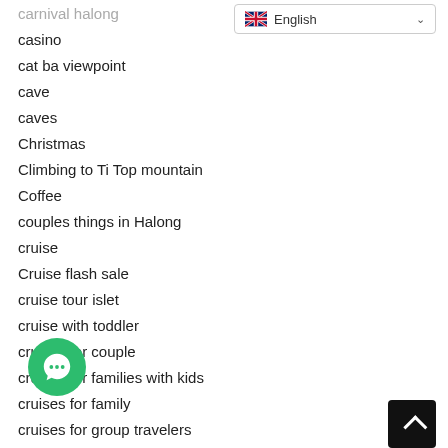carnival halong
casino
cat ba viewpoint
cave
caves
Christmas
Climbing to Ti Top mountain
Coffee
couples things in Halong
cruise
Cruise flash sale
cruise tour islet
cruise with toddler
cruises for couple
cruises for families with kids
cruises for family
cruises for group travelers
driving through pagodas
cruising with toddlers
daily cruise Halong